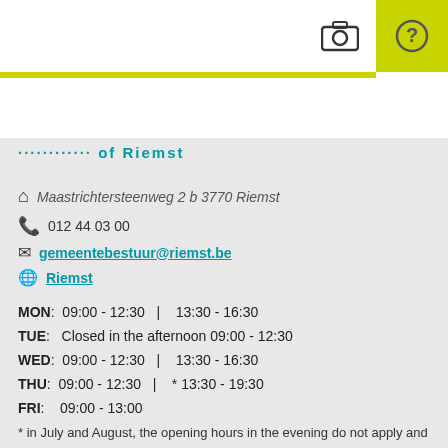Municipality of Riemst
Maastrichtersteenweg 2 b 3770 Riemst
012 44 03 00
gemeentebestuur@riemst.be
Riemst
MON: 09:00 - 12:30 | 13:30 - 16:30
TUE: Closed in the afternoon 09:00 - 12:30
WED: 09:00 - 12:30 | 13:30 - 16:30
THU: 09:00 - 12:30 | * 13:30 - 19:30
FRI: 09:00 - 13:00
* in July and August, the opening hours in the evening do not apply and